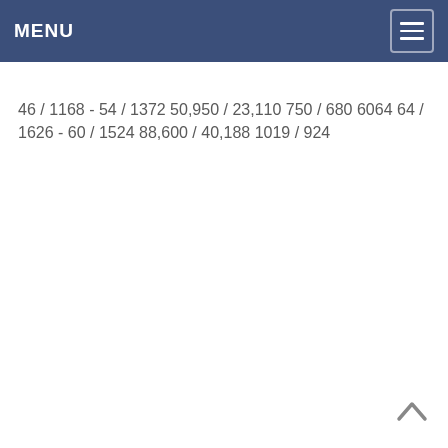MENU
46 / 1168 - 54 / 1372 50,950 / 23,110 750 / 680 6064 64 / 1626 - 60 / 1524 88,600 / 40,188 1019 / 924